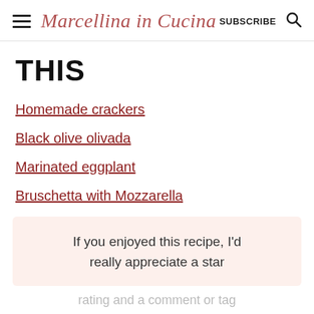Marcellina in Cucina  SUBSCRIBE  🔍
THIS
Homemade crackers
Black olive olivada
Marinated eggplant
Bruschetta with Mozzarella
If you enjoyed this recipe, I'd really appreciate a star
rating and a comment or tag